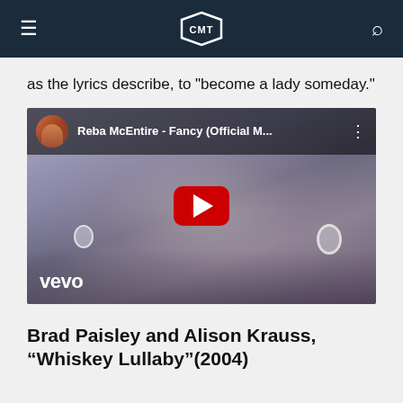CMT
as the lyrics describe, to "become a lady someday."
[Figure (screenshot): YouTube video embed thumbnail showing Reba McEntire - Fancy (Official M... with a woman's face in a dark/purple-toned scene, vevo watermark, red YouTube play button, and Reba's avatar in the top bar.]
Brad Paisley and Alison Krauss, “Whiskey Lullaby”(2004)